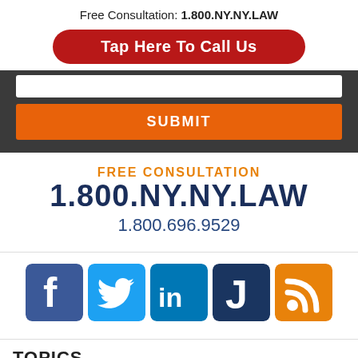Free Consultation: 1.800.NY.NY.LAW
Tap Here To Call Us
SUBMIT
FREE CONSULTATION
1.800.NY.NY.LAW
1.800.696.9529
[Figure (infographic): Social media icons: Facebook, Twitter, LinkedIn, Justia (J), RSS feed]
TOPICS